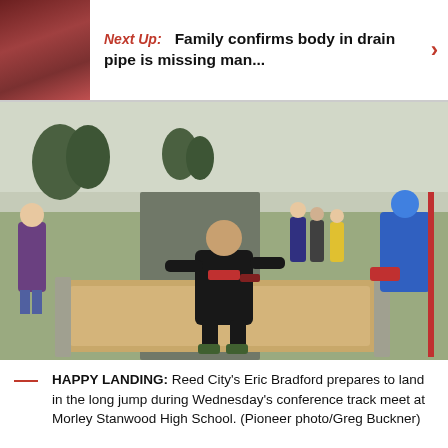Next Up: Family confirms body in drain pipe is missing man...
[Figure (photo): A high school athlete (Reed City's Eric Bradford) in a black athletic uniform mid-air preparing to land in a long jump sand pit at an outdoor track meet at Morley Stanwood High School. Several spectators and athletes visible in the background.]
HAPPY LANDING: Reed City's Eric Bradford prepares to land in the long jump during Wednesday's conference track meet at Morley Stanwood High School. (Pioneer photo/Greg Buckner)